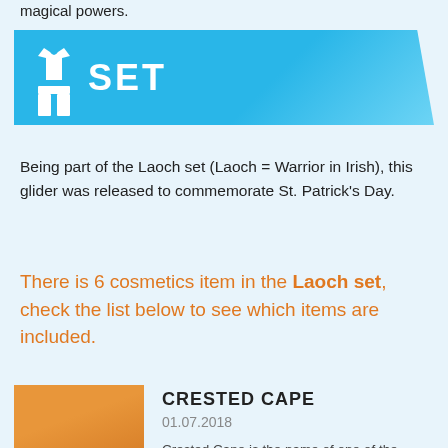magical powers.
SET
Being part of the Laoch set (Laoch = Warrior in Irish), this glider was released to commemorate St. Patrick's Day.
There is 6 cosmetics item in the Laoch set, check the list below to see which items are included.
[Figure (illustration): Orange gradient square image placeholder for Crested Cape item]
CRESTED CAPE
01.07.2018
Crested Cape is the name of one of the legendary back bling cosmetic items for the game Fortnite Battle...